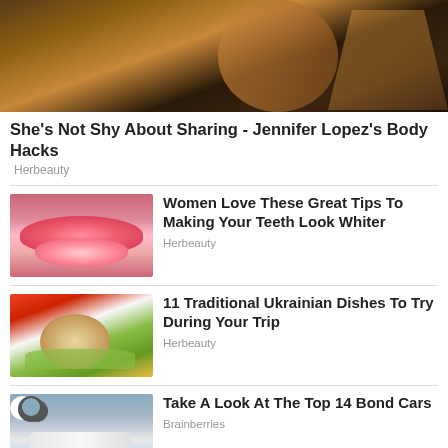[Figure (photo): Fitness/glamour photo of a woman in a black bikini top with fishnet stockings on a dark background]
She's Not Shy About Sharing - Jennifer Lopez's Body Hacks
Herbeauty
[Figure (photo): Close-up photo of lips with white teeth showing]
Women Love These Great Tips To Making Your Teeth Look Whiter
Herbeauty
[Figure (photo): Traditional Ukrainian dish - plated food with tomatoes and lettuce]
11 Traditional Ukrainian Dishes To Try During Your Trip
Herbeauty
[Figure (photo): A white Bond car with a person standing near industrial structures; sun/moon toggle icon overlay]
Take A Look At The Top 14 Bond Cars
Brainberries